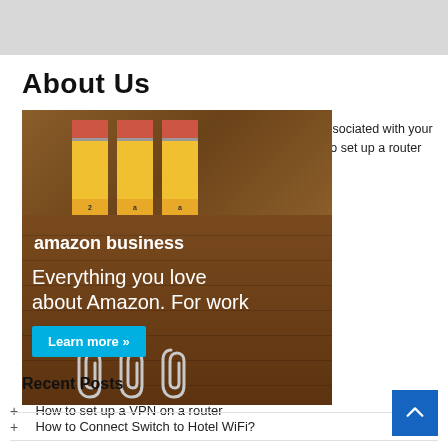About Us
RouterGuide connects you to a treasure of resources associated with your router. We provide all the relevant information required to set up a router correctly.
Email: paul@router.guide.org
[Figure (advertisement): Amazon Business advertisement showing pencils on a wooden desk background with paperclips, text reading 'amazon business Everything you love about Amazon. For work' with a cyan 'Learn more »' button]
Recent Posts
How to set up a VPN on a router
How to Connect Switch to Hotel WiFi?
What are the Methods to Fix the Roku Audio Out of Sync Issue?